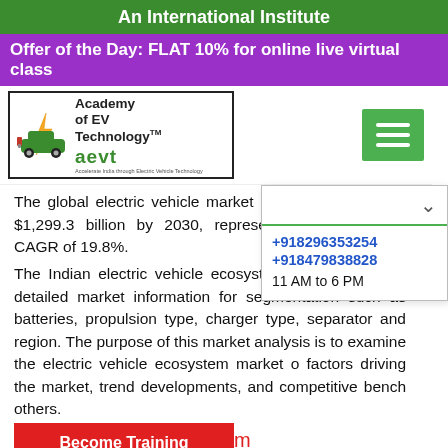An International Institute
Offer of the Day: FLAT 10% for online live virtual class
[Figure (logo): Academy of EV Technology (aevt) logo with TM mark, green car icon, EV charging symbols, and tagline 'Accelerate India through Electric Vehicle Technology']
The global electric vehicle market is expected to reach $1,299.3 billion by 2030, representing a 2020-2030 CAGR of 19.8%.
The Indian electric vehicle ecosystem market provides detailed market information for segmentation such as batteries, propulsion type, charger type, separator and region. The purpose of this market analysis is to examine the electric vehicle ecosystem market o factors driving the market, trend developments, and competitive bench others.
+918296353254
+918479838828
11 AM to 6 PM
Start EV Training Program
Become Training Partner
The type 1 plug is a single-phase plug which allows for